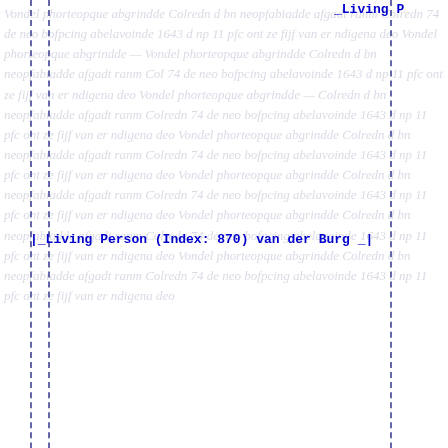_Living P
_Living Person (Index: 870) van der Burg _
_Living P
To the PERSONS INDEX, the SURNAMES INDEX. or the HOME page of the Meerts genealogy
Margarite Meets